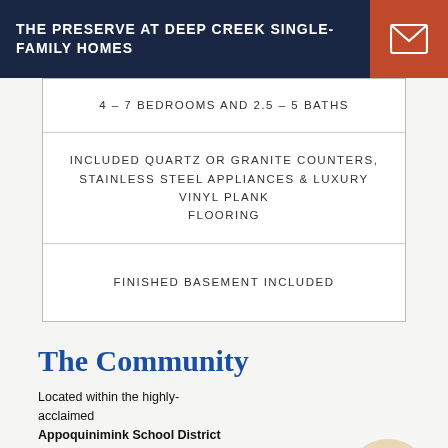THE PRESERVE AT DEEP CREEK SINGLE-FAMILY HOMES
4 – 7 BEDROOMS AND 2.5 – 5 BATHS
INCLUDED QUARTZ OR GRANITE COUNTERS, STAINLESS STEEL APPLIANCES & LUXURY VINYL PLANK FLOORING
FINISHED BASEMENT INCLUDED
The Community
Located within the highly-acclaimed Appoquinimink School District and close to